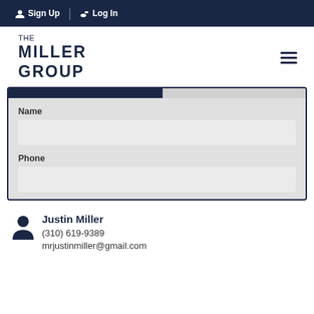Sign Up  Log In
[Figure (logo): The Miller Group logo with hamburger menu icon]
Name
Phone
Justin Miller
(310) 619-9389
mrjustinmiller@gmail.com